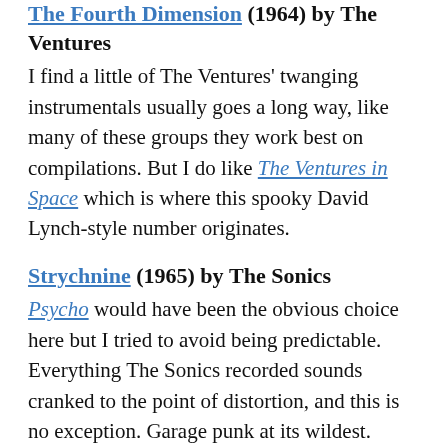The Fourth Dimension (1964) by The Ventures — I find a little of The Ventures' twanging instrumentals usually goes a long way, like many of these groups they work best on compilations. But I do like The Ventures in Space which is where this spooky David Lynch-style number originates.
Strychnine (1965) by The Sonics — Psycho would have been the obvious choice here but I tried to avoid being predictable. Everything The Sonics recorded sounds cranked to the point of distortion, and this is no exception. Garage punk at its wildest.
Bop Diddlie In The Jungle (1966) by Tommy King and The Starlites